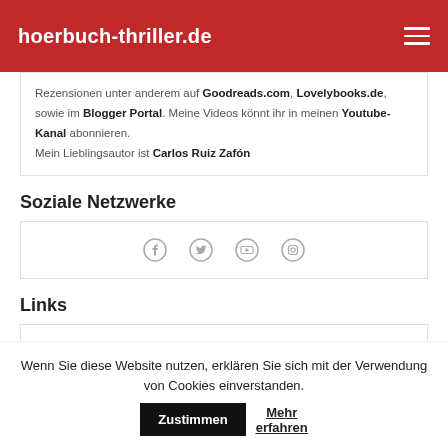hoerbuch-thriller.de
Rezensionen unter anderem auf Goodreads.com, Lovelybooks.de, sowie im Blogger Portal. Meine Videos könnt ihr in meinen Youtube-Kanal abonnieren.
Mein Lieblingsautor ist Carlos Ruiz Zafón
Soziale Netzwerke
[Figure (other): Social media icons: Facebook, Twitter, YouTube, Instagram]
Links
Wenn Sie diese Website nutzen, erklären Sie sich mit der Verwendung von Cookies einverstanden.
Zustimmen   Mehr erfahren